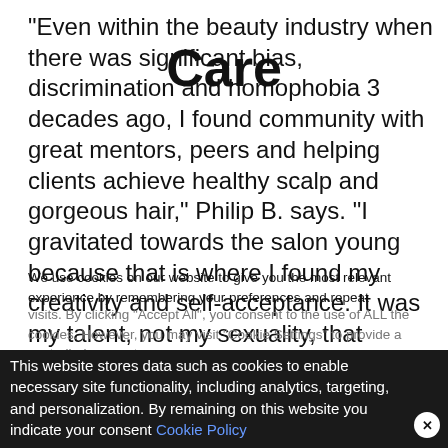“Even within the beauty industry when there was significant bias, discrimination and homophobia 3 decades ago, I found community with great mentors, peers and helping clients achieve healthy scalp and gorgeous hair,” Philip B. says. “I gravitated towards the salon young because that is where I found my creativity and self-acceptance. It was my talent, not my sexuality, that defined me in the salon environment with clients that embraced me
Care
We use cookies on our website to give you the most relevant experience by remembering your preferences and repeat visits. By clicking “Accept All”, you consent to the use of ALL the cookies. However, you may visit “Cookie Settings” to provide a controlled consent.
This website stores data such as cookies to enable necessary site functionality, including analytics, targeting, and personalization. By remaining on this website you indicate your consent Cookie Policy